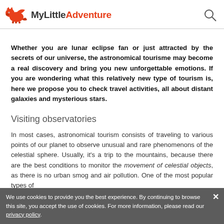MyLittle Adventure
Whether you are lunar eclipse fan or just attracted by the secrets of our universe, the astronomical tourisme may become a real discovery and bring you new unforgettable emotions. If you are wondering what this relatively new type of tourism is, here we propose you to check travel activities, all about distant galaxies and mysterious stars.
Visiting observatories
In most cases, astronomical tourism consists of traveling to various points of our planet to observe unusual and rare phenomenons of the celestial sphere. Usually, it's a trip to the mountains, because there are the best conditions to monitor the movement of celestial objects, as there is no urban smog and air pollution. One of the most popular types of
We use cookies to provide you the best experience. By continuing to browse this site, you accept the use of cookies. For more information, please read our privacy policy.